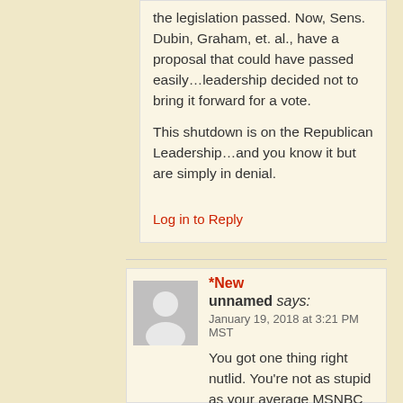the legislation passed.  Now, Sens. Dubin, Graham, et. al., have a proposal that could have passed easily…leadership decided not to bring it forward for a vote.

This shutdown is on the Republican Leadership…and you know it but are simply in denial.
Log in to Reply
*New
[Figure (illustration): Gray avatar placeholder showing a silhouette of a person]
unnamed says:
January 19, 2018 at 3:21 PM MST
You got one thing right nutlid.  You're not as stupid as your average MSNBC viewer.  You're much more stupid than that.  You're the stupidest person here hands down.
Log in to Reply